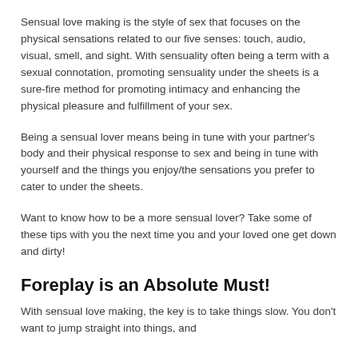Sensual love making is the style of sex that focuses on the physical sensations related to our five senses: touch, audio, visual, smell, and sight. With sensuality often being a term with a sexual connotation, promoting sensuality under the sheets is a sure-fire method for promoting intimacy and enhancing the physical pleasure and fulfillment of your sex.
Being a sensual lover means being in tune with your partner's body and their physical response to sex and being in tune with yourself and the things you enjoy/the sensations you prefer to cater to under the sheets.
Want to know how to be a more sensual lover? Take some of these tips with you the next time you and your loved one get down and dirty!
Foreplay is an Absolute Must!
With sensual love making, the key is to take things slow. You don't want to jump straight into things, and